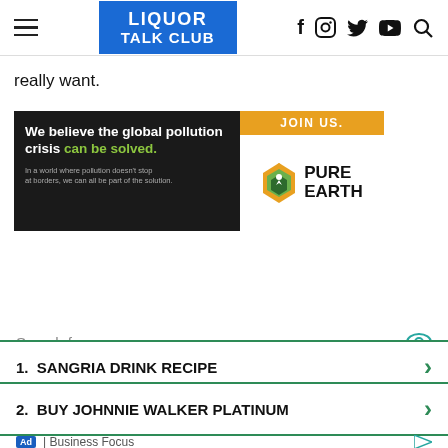LIQUOR TALK CLUB
really want.
[Figure (infographic): Advertisement banner for Pure Earth: left side dark background with text 'We believe the global pollution crisis can be solved. In a world where pollution doesn't stop at borders, we can all be part of the solution.' Right side white background with orange 'JOIN US.' bar and Pure Earth logo.]
Search for
1.  SANGRIA DRINK RECIPE
2.  BUY JOHNNIE WALKER PLATINUM
Ad | Business Focus